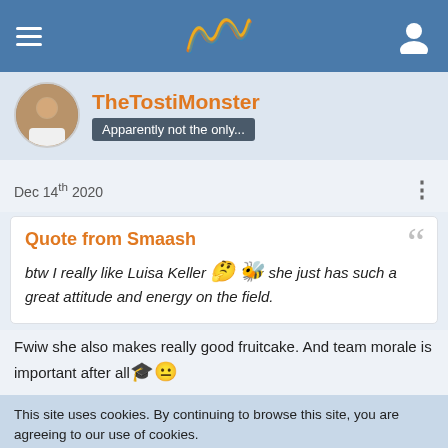TheTostiMonster — forum/social site header
TheTostiMonster
Apparently not the only...
Dec 14th 2020
Quote from Smaash
btw I really like Luisa Keller 🤔 🐝 she just has such a great attitude and energy on the field.
Fwiw she also makes really good fruitcake. And team morale is important after all 🎓😐
This site uses cookies. By continuing to browse this site, you are agreeing to our use of cookies.